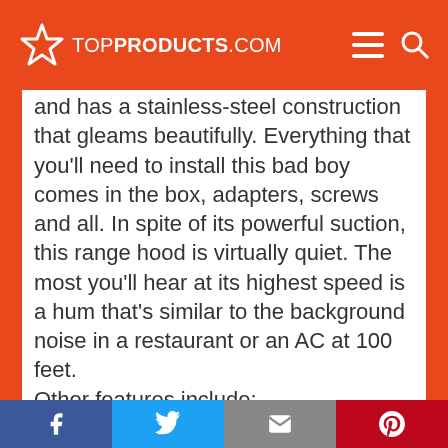TOPPRODUCTS.COM
and has a stainless-steel construction that gleams beautifully. Everything that you'll need to install this bad boy comes in the box, adapters, screws and all. In spite of its powerful suction, this range hood is virtually quiet. The most you'll hear at its highest speed is a hum that's similar to the background noise in a restaurant or an AC at 100 feet.
Other features include:
Facebook Twitter Email Pinterest